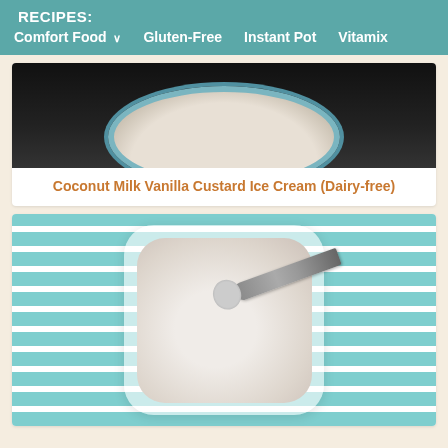RECIPES:
Comfort Food
Gluten-Free
Instant Pot
Vitamix
[Figure (photo): Top portion of a bowl of ice cream on a dark background, partially cropped at top of card]
Coconut Milk Vanilla Custard Ice Cream (Dairy-free)
[Figure (photo): A glass bowl of coconut milk vanilla custard ice cream with a spoon scooping into it, placed on a teal and white striped cloth napkin/towel]